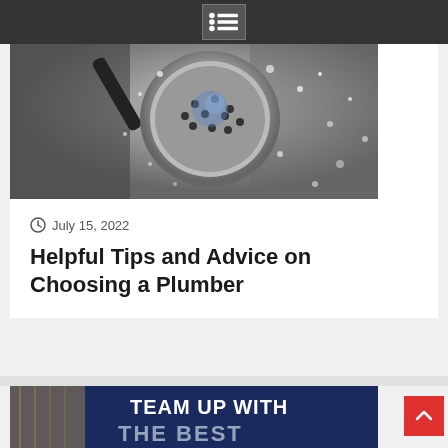Navigation menu icon
[Figure (photo): Close-up black and white photo of a shower head spraying water with water droplets visible]
July 15, 2022
Helpful Tips and Advice on Choosing a Plumber
[Figure (photo): Banner image with text TEAM UP WITH THE BEST on a dark blue background with building structure visible on the left]